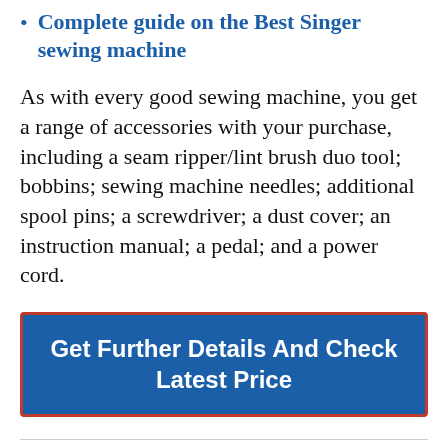Complete guide on the Best Singer sewing machine
As with every good sewing machine, you get a range of accessories with your purchase, including a seam ripper/lint brush duo tool; bobbins; sewing machine needles; additional spool pins; a screwdriver; a dust cover; an instruction manual; a pedal; and a power cord.
Get Further Details And Check Latest Price
Protect and Learn